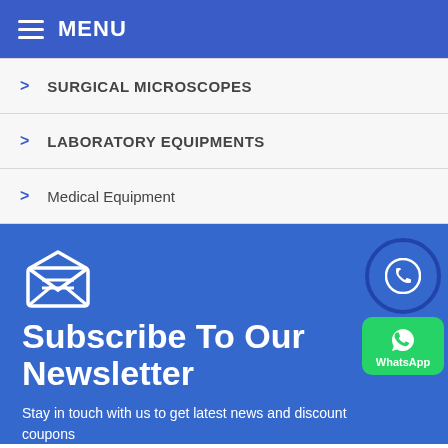MENU
SURGICAL MICROSCOPES
LABORATORY EQUIPMENTS
Medical Equipment
Subscribe To Our Newsletter
Stay in touch with us to get latest news and discount coupons
Enter Your Email Address...
Subscribe Now